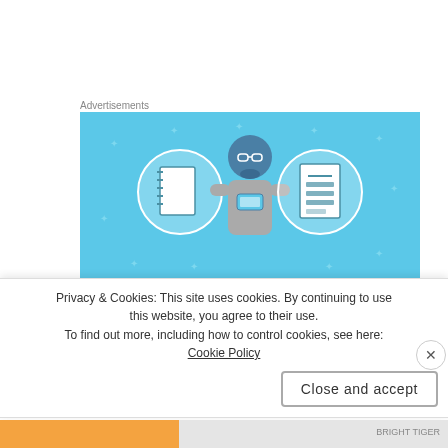Advertisements
[Figure (illustration): Blue advertisement banner showing an illustrated person holding a phone, flanked by two circular icons containing notebook and list graphics on a light blue background]
BLOGGER-VISHAL PANDEY says:
MARCH 30, 2017 AT 11:40 PM
Privacy & Cookies: This site uses cookies. By continuing to use this website, you agree to their use.
To find out more, including how to control cookies, see here: Cookie Policy
Close and accept